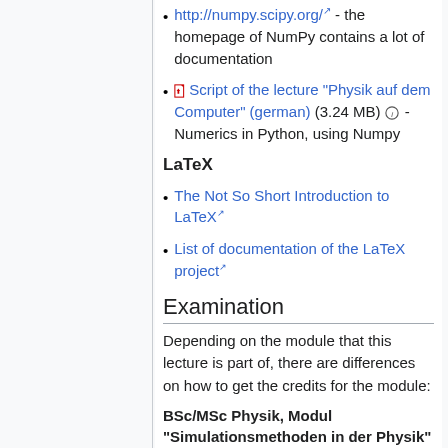http://numpy.scipy.org/ - the homepage of NumPy contains a lot of documentation
Script of the lecture "Physik auf dem Computer" (german) (3.24 MB) - Numerics in Python, using Numpy
LaTeX
The Not So Short Introduction to LaTeX
List of documentation of the LaTeX project
Examination
Depending on the module that this lecture is part of, there are differences on how to get the credits for the module:
BSc/MSc Physik, Modul "Simulationsmethoden in der Physik"